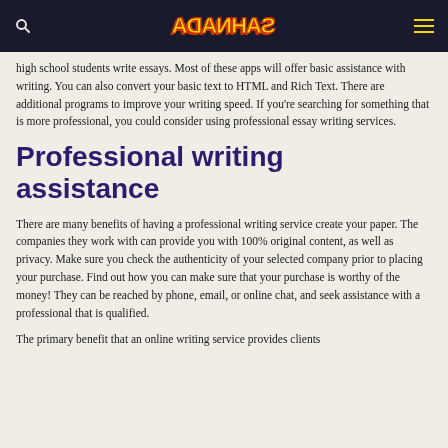SAHNADA [logo/navigation bar]
high school students write essays. Most of these apps will offer basic assistance with writing. You can also convert your basic text to HTML and Rich Text. There are additional programs to improve your writing speed. If you're searching for something that is more professional, you could consider using professional essay writing services.
Professional writing assistance
There are many benefits of having a professional writing service create your paper. The companies they work with can provide you with 100% original content, as well as privacy. Make sure you check the authenticity of your selected company prior to placing your purchase. Find out how you can make sure that your purchase is worthy of the money! They can be reached by phone, email, or online chat, and seek assistance with a professional that is qualified.
The primary benefit that an online writing service provides clients